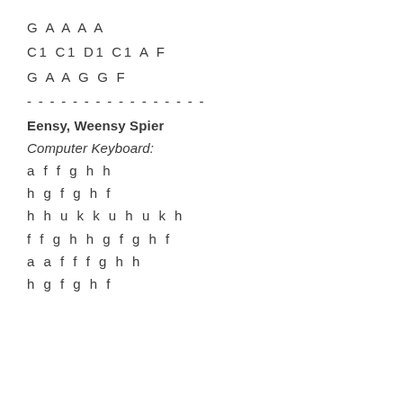G A A A A
C1 C1 D1 C1 A F
G A A G G F
- - - - - - - - - - - - - - - -
Eensy, Weensy Spier
Computer Keyboard:
a f f g h h
h g f g h f
h h u k k u h u k h
f f g h h g f g h f
a a f f f g h h
h g f g h f